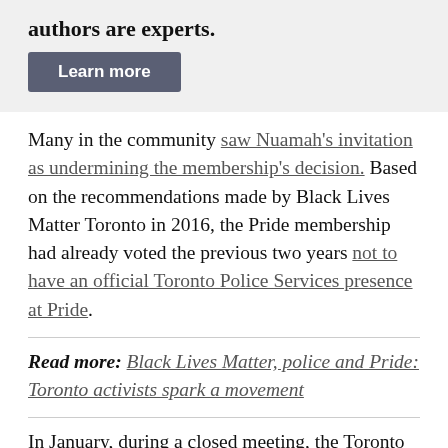authors are experts.
[Figure (other): Dark grey 'Learn more' button]
Many in the community saw Nuamah's invitation as undermining the membership's decision. Based on the recommendations made by Black Lives Matter Toronto in 2016, the Pride membership had already voted the previous two years not to have an official Toronto Police Services presence at Pride.
Read more: Black Lives Matter, police and Pride: Toronto activists spark a movement
In January, during a closed meeting, the Toronto Pride membership voted 163 to 161 against having…